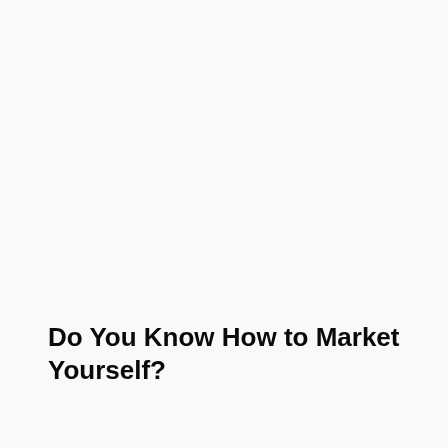Do You Know How to Market Yourself?